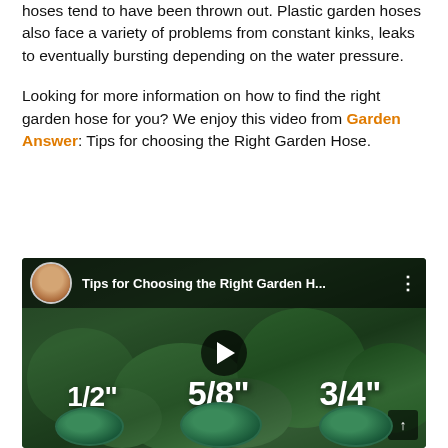hoses tend to have been thrown out. Plastic garden hoses also face a variety of problems from constant kinks, leaks to eventually bursting depending on the water pressure.
Looking for more information on how to find the right garden hose for you? We enjoy this video from Garden Answer: Tips for choosing the Right Garden Hose.
[Figure (screenshot): YouTube video thumbnail showing 'Tips for Choosing the Right Garden H...' with a woman's avatar in the top bar, and three garden hoses labeled 1/2", 5/8", and 3/4" in large white text over a garden background with a play button overlay.]